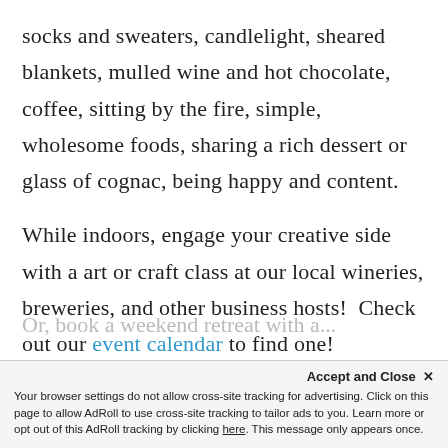socks and sweaters, candlelight, sheared blankets, mulled wine and hot chocolate, coffee, sitting by the fire, simple, wholesome foods, sharing a rich dessert or glass of cognac, being happy and content.
While indoors, engage your creative side with a art or craft class at our local wineries, breweries, and other business hosts! Check out our event calendar to find one!
Or, book a weekend retreat with a...
Accept and Close ✕ Your browser settings do not allow cross-site tracking for advertising. Click on this page to allow AdRoll to use cross-site tracking to tailor ads to you. Learn more or opt out of this AdRoll tracking by clicking here. This message only appears once.